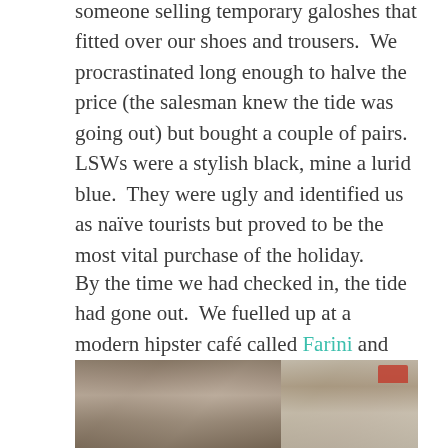someone selling temporary galoshes that fitted over our shoes and trousers.  We procrastinated long enough to halve the price (the salesman knew the tide was going out) but bought a couple of pairs.  LSWs were a stylish black, mine a lurid blue.  They were ugly and identified us as naïve tourists but proved to be the most vital purchase of the holiday.
By the time we had checked in, the tide had gone out.  We fuelled up at a modern hipster café called Farini and spent the rest of the day walking past the dense strips of classy palaces, around the drying streets and along the canals strewn with elegant gondolas.  Even wrong turns proved to be sources of picturesque views.
[Figure (photo): Two side-by-side travel photographs of Venice streets and buildings, partially visible at bottom of page]